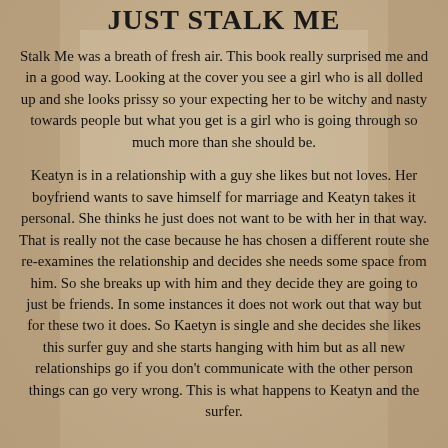JUST STALK ME
Stalk Me was a breath of fresh air. This book really surprised me and in a good way. Looking at the cover you see a girl who is all dolled up and she looks prissy so your expecting her to be witchy and nasty towards people but what you get is a girl who is going through so much more than she should be.
Keatyn is in a relationship with a guy she likes but not loves. Her boyfriend wants to save himself for marriage and Keatyn takes it personal. She thinks he just does not want to be with her in that way. That is really not the case because he has chosen a different route she re-examines the relationship and decides she needs some space from him. So she breaks up with him and they decide they are going to just be friends. In some instances it does not work out that way but for these two it does. So Kaetyn is single and she decides she likes this surfer guy and she starts hanging with him but as all new relationships go if you don't communicate with the other person things can go very wrong. This is what happens to Keatyn and the surfer.